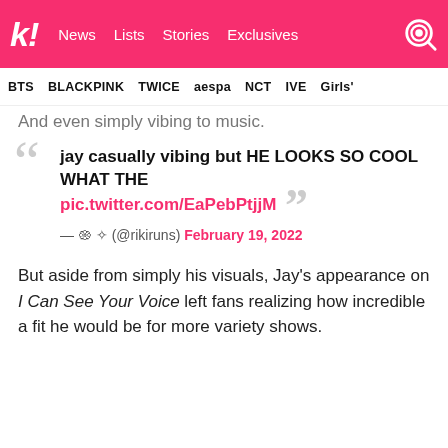Koreaboo — News | Lists | Stories | Exclusives
BTS  BLACKPINK  TWICE  aespa  NCT  IVE  Girls'
And even simply vibing to music.
jay casually vibing but HE LOOKS SO COOL WHAT THE pic.twitter.com/EaPebPtjjM
— 𑁍 ✧ (@rikiruns) February 19, 2022
But aside from simply his visuals, Jay's appearance on I Can See Your Voice left fans realizing how incredible a fit he would be for more variety shows.